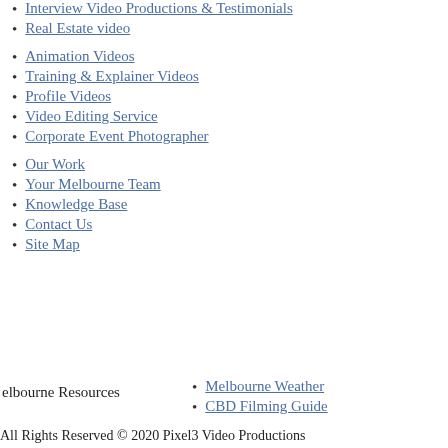Interview Video Productions & Testimonials
Real Estate video
Animation Videos
Training & Explainer Videos
Profile Videos
Video Editing Service
Corporate Event Photographer
Our Work
Your Melbourne Team
Knowledge Base
Contact Us
Site Map
elbourne Resources
Melbourne Weather
CBD Filming Guide
All Rights Reserved © 2020 Pixel3 Video Productions